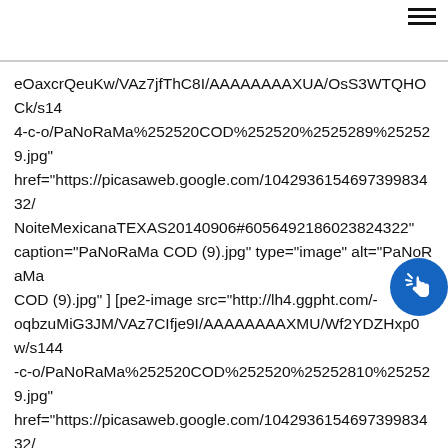hamburger menu icon
eOaxcrQeuKw/VAz7jfThC8I/AAAAAAAAXUA/OsS3WTQHOCk/s144-c-o/PaNoRaMa%252520COD%252520%2525289%252529.jpg" href="https://picasaweb.google.com/104293615469739983432/NoiteMexicanaTEXAS20140906#6056492186023824322" caption="PaNoRaMa COD (9).jpg" type="image" alt="PaNoRaMa COD (9).jpg" ] [pe2-image src="http://lh4.ggpht.com/-oqbzuMiG3JM/VAz7CIfje9I/AAAAAAAAXMU/Wf2YDZHxp0w/s144-c-o/PaNoRaMa%252520COD%252520%25252810%252529.jpg" href="https://picasaweb.google.com/104293615469739983432/NoiteMexicanaTEXAS20140906#6056491612964617170" caption="PaNoRaMa COD (10).jpg" type="image" alt="PaNoRaMa COD (10).jpg" ] [pe2-image src="http://lh6.ggpht.com/-qaUdtCKVajE/VAz7CC5Nz7I/AAAAAAAAXMY/BndYTmzBd_Y/s144